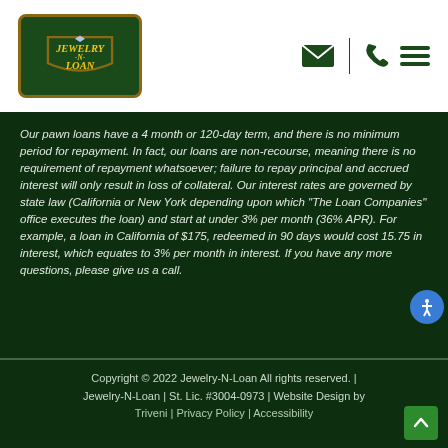[Figure (logo): Jewelry-N-Loan logo — green shield/badge shape with gold border, yellow italic text reading JEWELRY -N- LOAN with a small diamond icon on top]
Our pawn loans have a 4 month or 120-day term, and there is no minimum period for repayment. In fact, our loans are non-recourse, meaning there is no requirement of repayment whatsoever; failure to repay principal and accrued interest will only result in loss of collateral. Our interest rates are governed by state law (California or New York depending upon which "The Loan Companies" office executes the loan) and start at under 3% per month (36% APR). For example, a loan in California of $175, redeemed in 90 days would cost 15.75 in interest, which equates to 3% per month in interest. If you have any more questions, please give us a call.
Copyright © 2022 Jewelry-N-Loan All rights reserved. | Jewelry-N-Loan | St. Lic. #3004-0973 | Website Design by Triveni | Privacy Policy | Accessibility